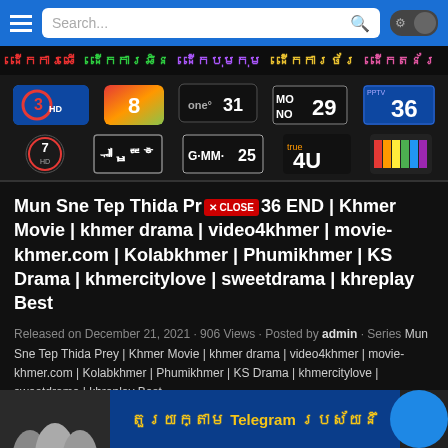Search... [hamburger menu, search bar, toggle/settings]
[Figure (screenshot): Navigation row with Khmer script category labels in various colors: red, green, purple, yellow, pink]
[Figure (screenshot): Grid of Thai TV channel logos: Channel 3 HD, Channel 8, One 31, Mono 29, PPTV 36, Channel 7 HD, TPBS (Thai PBS), GMM 25, True 4U, and a color-bar channel logo]
Mun Sne Tep Thida Prey 36 END | Khmer Movie | khmer drama | video4khmer | movie-khmer.com | Kolabkhmer | Phumikhmer | KS Drama | khmercitylove | sweetdrama | khreplay Best
Released on December 21, 2021 · 906 Views · Posted by admin · Series Mun Sne Tep Thida Prey | Khmer Movie | khmer drama | video4khmer | movie-khmer.com | Kolabkhmer | Phumikhmer | KS Drama | khmercitylove | sweetdrama | khreplay Best
[Figure (infographic): Bottom banner with person photos on left, Telegram promotional text in Khmer and English in center on blue background, and a blue circle on right]